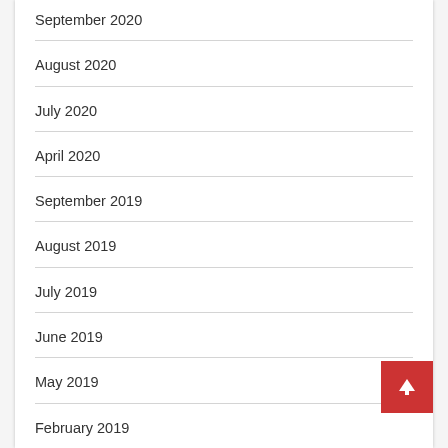September 2020
August 2020
July 2020
April 2020
September 2019
August 2019
July 2019
June 2019
May 2019
February 2019
January 2019